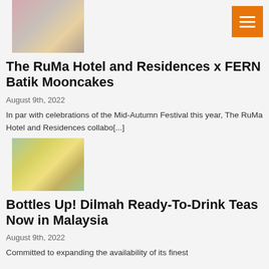[Figure (photo): Photo of RuMa Hotel and FERN Batik Mooncakes — decorative basket with fruits on a plate]
The RuMa Hotel and Residences x FERN Batik Mooncakes
August 9th, 2022
In par with celebrations of the Mid-Autumn Festival this year, The RuMa Hotel and Residences collabo[...]
[Figure (photo): Photo of Dilmah Ready-To-Drink Teas — bottles arranged with colorful candies and food items]
Bottles Up! Dilmah Ready-To-Drink Teas Now in Malaysia
August 9th, 2022
Committed to expanding the availability of its finest